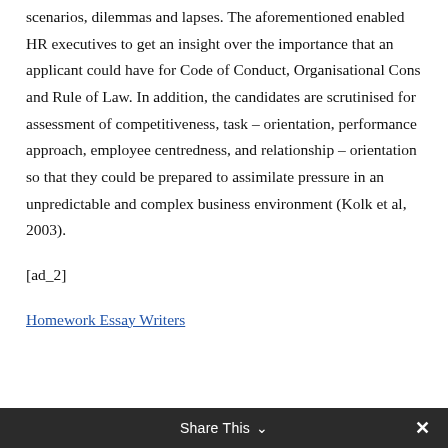scenarios, dilemmas and lapses. The aforementioned enabled HR executives to get an insight over the importance that an applicant could have for Code of Conduct, Organisational Cons and Rule of Law. In addition, the candidates are scrutinised for assessment of competitiveness, task – orientation, performance approach, employee centredness, and relationship – orientation so that they could be prepared to assimilate pressure in an unpredictable and complex business environment (Kolk et al, 2003).
[ad_2]
Homework Essay Writers
Share This ∨  ✕